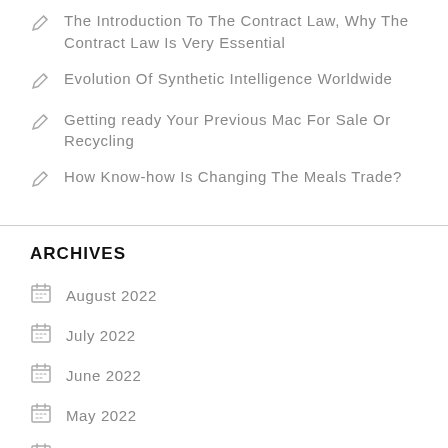The Introduction To The Contract Law, Why The Contract Law Is Very Essential
Evolution Of Synthetic Intelligence Worldwide
Getting ready Your Previous Mac For Sale Or Recycling
How Know-how Is Changing The Meals Trade?
ARCHIVES
August 2022
July 2022
June 2022
May 2022
April 2022